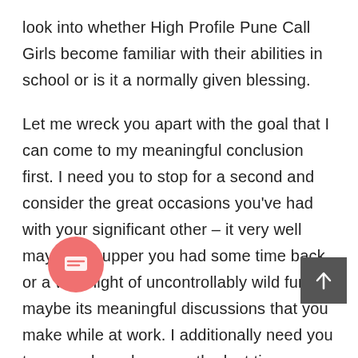look into whether High Profile Pune Call Girls become familiar with their abilities in school or is it a normally given blessing.
Let me wreck you apart with the goal that I can come to my meaningful conclusion first. I need you to stop for a second and consider the great occasions you've had with your significant other – it very well may be a supper you had some time back, or a wild night of uncontrollably wild fun or maybe its meaningful discussions that you make while at work. I additionally need you to remember when was the last time you had a great time by any means, particularly in case you are focused on a lovely lady out there. So now I will ask my ask inquiry dependent on the intelligent